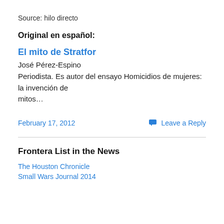Source: hilo directo
Original en español:
El mito de Stratfor
José Pérez-Espino
Periodista. Es autor del ensayo Homicidios de mujeres: la invención de mitos…
February 17, 2012
Leave a Reply
Frontera List in the News
The Houston Chronicle
Small Wars Journal 2014